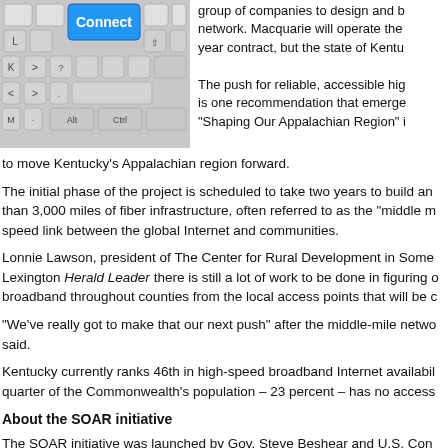[Figure (photo): Photo of a keyboard with a blue 'Connect' key highlighted]
group of companies to design and b... network. Macquarie will operate the ... year contract, but the state of Kentu...
The push for reliable, accessible hig... is one recommendation that emerge... "Shaping Our Appalachian Region" i...
to move Kentucky's Appalachian region forward.
The initial phase of the project is scheduled to take two years to build an... than 3,000 miles of fiber infrastructure, often referred to as the "middle m... speed link between the global Internet and communities.
Lonnie Lawson, president of The Center for Rural Development in Some... Lexington Herald Leader there is still a lot of work to be done in figuring o... broadband throughout counties from the local access points that will be c...
"We've really got to make that our next push" after the middle-mile netwo... said.
Kentucky currently ranks 46th in high-speed broadband Internet availabil... quarter of the Commonwealth's population – 23 percent – has no access...
About the SOAR initiative
The SOAR initiative was launched by Gov. Steve Beshear and U.S. Con...